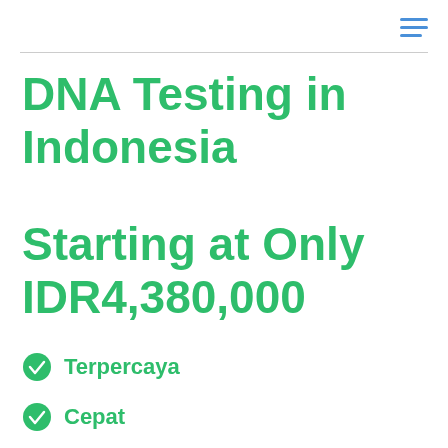DNA Testing in Indonesia
Starting at Only IDR4,380,000
Terpercaya
Cepat
Cermat dan Akurat